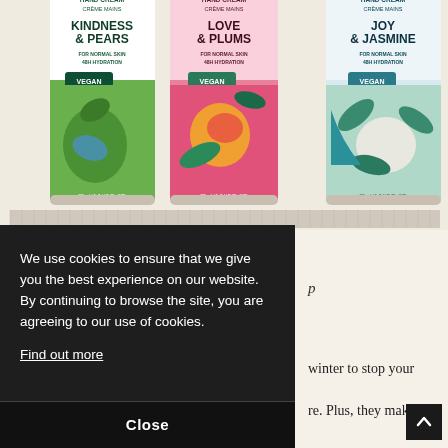[Figure (photo): Three The Body Shop hand cream tubes side by side: Kindness & Pears (green), Love & Plums (pink/magenta), and Joy & Jasmine (light blue/teal). Each tube shows Hand Cream / Crème Mains label, 'For Normal Skin 48H Hydration', a VEGAN badge, and 30ml / 1.0 US FL OZ size. Colorful fruit/botanical illustrations on each tube.]
We use cookies to ensure that we give you the best experience on our website. By continuing to browse the site, you are agreeing to our use of cookies.
Find out more
Close
p
winter to stop your
re. Plus, they make